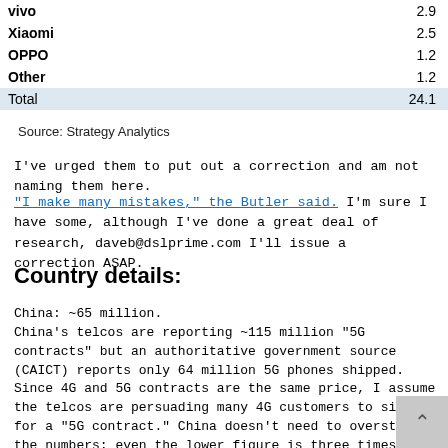| Brand | Value |
| --- | --- |
| vivo | 2.9 |
| Xiaomi | 2.5 |
| OPPO | 1.2 |
| Other | 1.2 |
| Total | 24.1 |
Source: Strategy Analytics
I've urged them to put out a correction and am not naming them here.
"I make many mistakes," the Butler said. I'm sure I have some, although I've done a great deal of research, daveb@dslprime.com I'll issue a correction ASAP.
Country details:
China: ~65 million.
China's telcos are reporting ~115 million "5G contracts" but an authoritative government source (CAICT) reports only 64 million 5G phones shipped. Since 4G and 5G contracts are the same price, I assume the telcos are persuading many 4G customers to sign up for a "5G contract." China doesn't need to overstate the numbers; even the lower figure is three times as many as the rest of the world.
Over 410,000 base stations have been upgraded and 15,000 more are being done each week. China Mobile expects a total of 600,000 5G cells yearend, covering about 700,000,000 people. All is mid-band.
17 million 5G phones shipped in June, many selling for US$230-260. 30-gigabyte service costs $13-18/month. China is on track to easily meet the